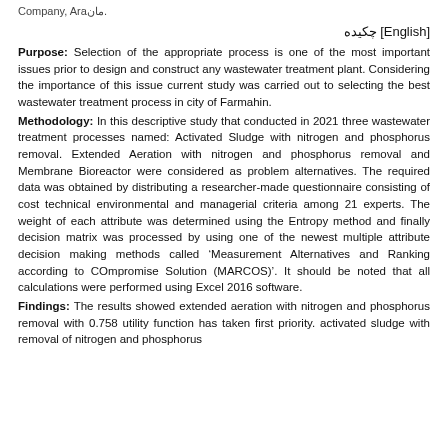Company, Araман.
چکیده [English]
Purpose: Selection of the appropriate process is one of the most important issues prior to design and construct any wastewater treatment plant. Considering the importance of this issue current study was carried out to selecting the best wastewater treatment process in city of Farmahin.
Methodology: In this descriptive study that conducted in 2021 three wastewater treatment processes named: Activated Sludge with nitrogen and phosphorus removal. Extended Aeration with nitrogen and phosphorus removal and Membrane Bioreactor were considered as problem alternatives. The required data was obtained by distributing a researcher-made questionnaire consisting of cost technical environmental and managerial criteria among 21 experts. The weight of each attribute was determined using the Entropy method and finally decision matrix was processed by using one of the newest multiple attribute decision making methods called 'Measurement Alternatives and Ranking according to COmpromise Solution (MARCOS)'. It should be noted that all calculations were performed using Excel 2016 software.
Findings: The results showed extended aeration with nitrogen and phosphorus removal with 0.758 utility function has taken first priority. activated sludge with removal of nitrogen and phosphorus